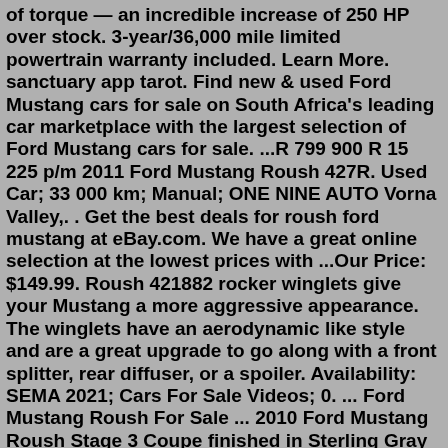of torque — an incredible increase of 250 HP over stock. 3-year/36,000 mile limited powertrain warranty included. Learn More. sanctuary app tarot. Find new & used Ford Mustang cars for sale on South Africa's leading car marketplace with the largest selection of Ford Mustang cars for sale. ...R 799 900 R 15 225 p/m 2011 Ford Mustang Roush 427R. Used Car; 33 000 km; Manual; ONE NINE AUTO Vorna Valley,. . Get the best deals for roush ford mustang at eBay.com. We have a great online selection at the lowest prices with ...Our Price: $149.99. Roush 421882 rocker winglets give your Mustang a more aggressive appearance. The winglets have an aerodynamic like style and are a great upgrade to go along with a front splitter, rear diffuser, or a spoiler. Availability: SEMA 2021; Cars For Sale Videos; 0. ... Ford Mustang Roush For Sale ... 2010 Ford Mustang Roush Stage 3 Coupe finished in Sterling Gray with matte black stripes ... Visit Roush Ford for details. The legendary Ford Mustang means one thing above all: power. ... 2021 Ford Bronco; 2021 F-150 Vs Ram 1500; 6k-Mile